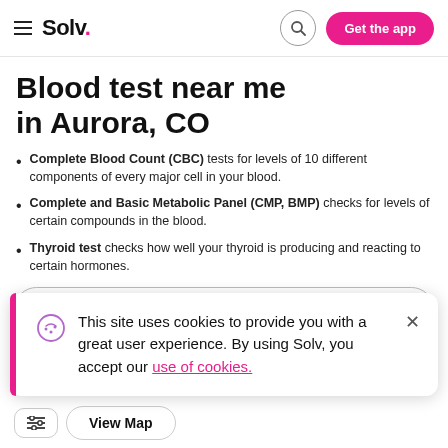Solv. — Get the app
Blood test near me in Aurora, CO
Complete Blood Count (CBC) tests for levels of 10 different components of every major cell in your blood.
Complete and Basic Metabolic Panel (CMP, BMP) checks for levels of certain compounds in the blood.
Thyroid test checks how well your thyroid is producing and reacting to certain hormones.
[Figure (screenshot): Search input box with text 'Blood test']
This site uses cookies to provide you with a great user experience. By using Solv, you accept our use of cookies.
View Map